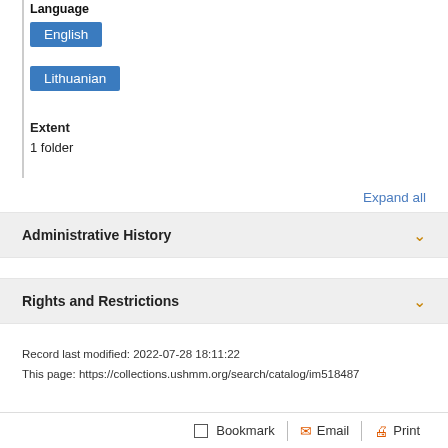Language
English
Lithuanian
Extent
1 folder
Expand all
Administrative History
Rights and Restrictions
Record last modified: 2022-07-28 18:11:22
This page: https://collections.ushmm.org/search/catalog/im518487
Bookmark | Email | Print